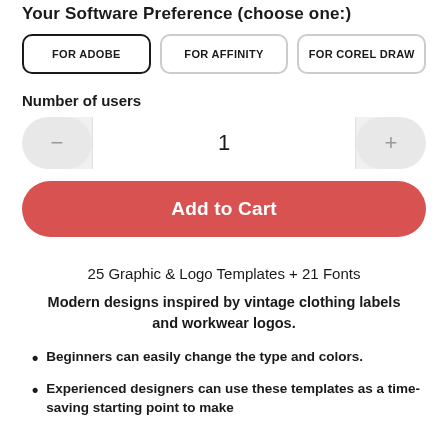Your Software Preference (choose one:)
FOR ADOBE | FOR AFFINITY | FOR COREL DRAW
Number of users
1
Add to Cart
25 Graphic & Logo Templates + 21 Fonts
Modern designs inspired by vintage clothing labels and workwear logos.
Beginners can easily change the type and colors.
Experienced designers can use these templates as a time-saving starting point to make